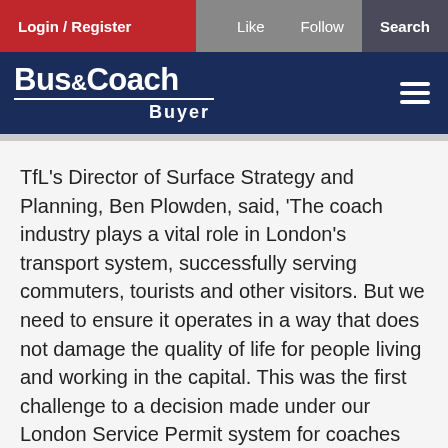Login / Register | Like | Follow | Search
[Figure (logo): Bus&Coach Buyer logo on dark blue background with hamburger menu icon]
TfL's Director of Surface Strategy and Planning, Ben Plowden, said, ‘The coach industry plays a vital role in London’s transport system, successfully serving commuters, tourists and other visitors. But we need to ensure it operates in a way that does not damage the quality of life for people living and working in the capital. This was the first challenge to a decision made under our London Service Permit system for coaches coming into the Capital which was put in place in 2000. We are pleased that the Transport Tribunal has seen fit to support our approach to reducing unnecessary traffic in residential areas.’